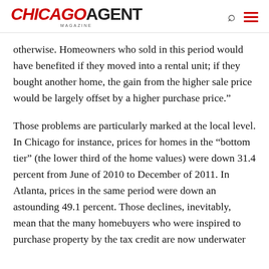CHICAGO AGENT MAGAZINE
otherwise. Homeowners who sold in this period would have benefited if they moved into a rental unit; if they bought another home, the gain from the higher sale price would be largely offset by a higher purchase price.”
Those problems are particularly marked at the local level. In Chicago for instance, prices for homes in the “bottom tier” (the lower third of the home values) were down 31.4 percent from June of 2010 to December of 2011. In Atlanta, prices in the same period were down an astounding 49.1 percent. Those declines, inevitably, mean that the many homebuyers who were inspired to purchase property by the tax credit are now underwater